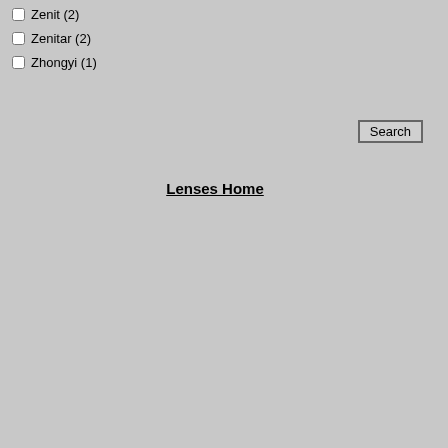Zenit (2)
Zenitar (2)
Zhongyi (1)
Search
Lenses Home
rcollins709, bubeltrubel, malina, freefalling, chandmade, Bogi, andrew_za, MarcusArman, alexzen, dpmeersman, emyleo, unaware, kro, briandsd, andrask, ingiv, markfinch, goodtoy, creativeOverflow, fxmixer, Muntzster, weheh, hbullins, Glenset, Lenya, airacker, jsinth, GM, cpierry, Ticro, dougi555, spi4u2, mb, millmon, mcullen, kai, awelsh, dafletchr, matchew, wi, HeiSch, Rolph, c-line, Sliekas Satanistas, De, andrewthomas, emlbaker, tbrengle, jeremyr, kea, Broompl, Wynand, cyclejoc, msivyi, libi, Rum, Melusine, MacroMaker, Thaitawat, mjzi, flyingdoc, jeremybrooks, petersonmat, hatch, art_vandelay, xcriteria, pitzner, gsuk1, LOSfo, SinCityCyclops, MrDevious, mflakke, silverh, DaveMac, lmoro, najib, AirBrontosaurus, bbo, Pi-Production, Glass_Cannon, buddhasghosts, Scapeshots, JaimeVinas, kekett, Marti, Domi, halfon, kkayyar, AlenaR, jeshua, kawaka, wh, disdatmac, stevebremer, ozerad, krugerm, ta, DeeLangevin, jonoc, bobek, bkburns, nazimb, BarbB, boomslice, ketan, kevin_atkinson, hy, janspeed, suresht, wximagery, digger58, kee, battymaddie, tjp1451, deckerATX, finsup, Ga, Sortvind, JToddHiggins, nmathaiphotograph, Martyk22, stephendesroches, ima, peppino, corykv, RichardB, leoncalverley, photosbyke, Maggye, RianBotes, rmcphotographs, phlov, androgeus, laurie241, sahuin, bboh, yuriyo9, gqhaha, codfish709, Teffluvium, Helene, Midd, DuffStudios, melissahl, piggrat, Frenck, jotal, LadyK, fosofos, keroger2k, euromac, hvphot